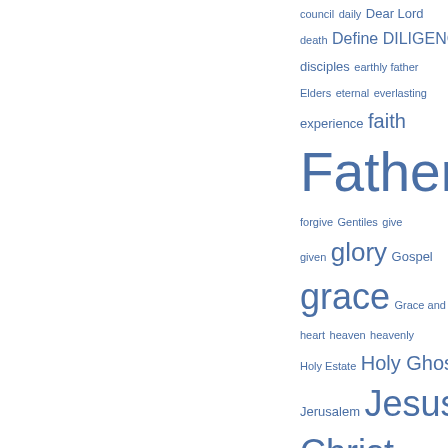[Figure (infographic): A word cloud / tag cloud displayed in blue tones showing religious and biblical terms at varying font sizes indicating frequency. Terms include: council, daily, Dear Lord, death, Define, DILIGENCE, disciples, earthly father, Elders, eternal, everlasting, experience, faith, Father, fellowship, forgive, Gentiles, give, given, glory, Gospel, grace, Grace and peace, heart, heaven, heavenly, Holy Estate, Holy Ghost, Jerusalem, Jesus Christ, JESUS LESSON, Jesus Name, Jews, John, King, Kingdom, knowledge, light, live, Lord Jesus, Luke, Mark, Matt, Matthew, miracles]